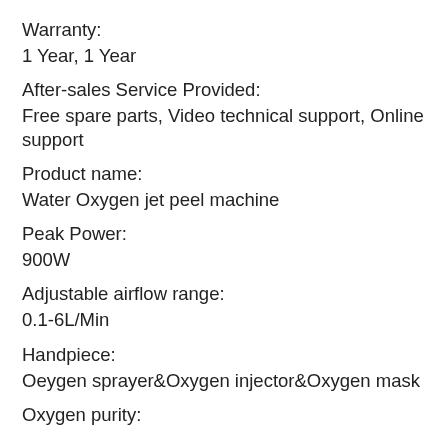Warranty:
1 Year, 1 Year
After-sales Service Provided:
Free spare parts, Video technical support, Online support
Product name:
Water Oxygen jet peel machine
Peak Power:
900W
Adjustable airflow range:
0.1-6L/Min
Handpiece:
Oeygen sprayer&Oxygen injector&Oxygen mask
Oxygen purity: